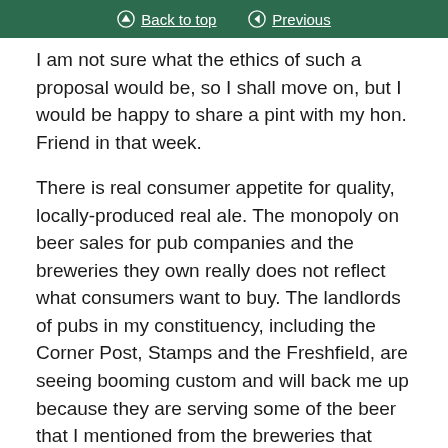Back to top | Previous
I am not sure what the ethics of such a proposal would be, so I shall move on, but I would be happy to share a pint with my hon. Friend in that week.

There is real consumer appetite for quality, locally-produced real ale. The monopoly on beer sales for pub companies and the breweries they own really does not reflect what consumers want to buy. The landlords of pubs in my constituency, including the Corner Post, Stamps and the Freshfield, are seeing booming custom and will back me up because they are serving some of the beer that I mentioned from the breweries that have recently started up. We have heard many stories, not only today but over the years, about how pub tenants have been ruined or promises of investment have not materialised